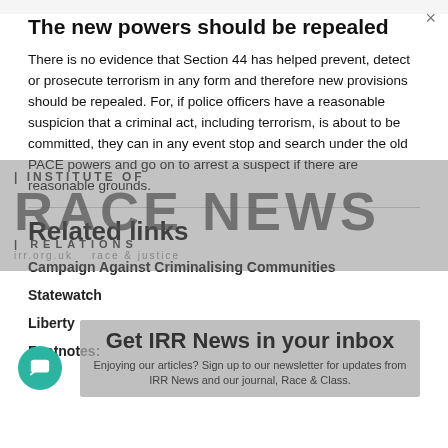The new powers should be repealed
There is no evidence that Section 44 has helped prevent, detect or prosecute terrorism in any form and therefore new provisions should be repealed. For, if police officers have a reasonable suspicion that a criminal act, including terrorism, is about to be committed, they can in any event stop and search under the old PACE powers and go on to arrest a suspect if there are reasonable grounds.
Related links
Campaign Against Criminalising Communities
Statewatch
Liberty
Footnotes: